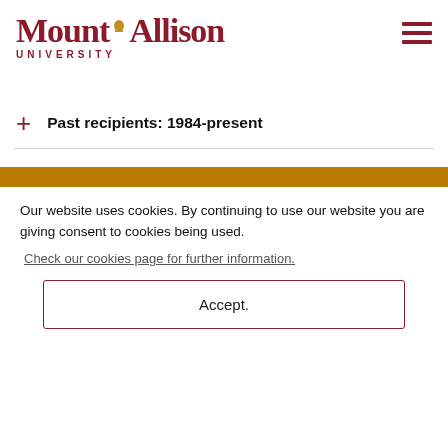[Figure (logo): Mount Allison University logo with stylized text and bird icon in dark red/maroon color]
Past recipients: 1984-present
Our website uses cookies. By continuing to use our website you are giving consent to cookies being used.
Check our cookies page for further information.
Accept.